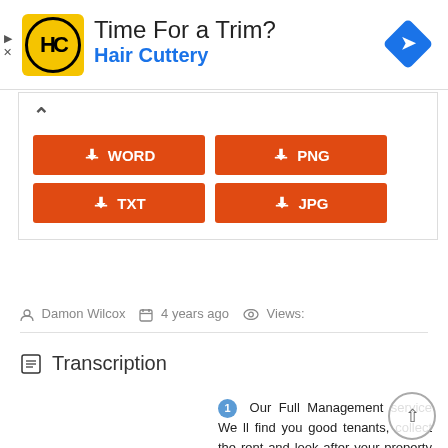[Figure (screenshot): Advertisement banner for Hair Cuttery with logo, headline 'Time For a Trim?', brand name 'Hair Cuttery', and a blue diamond navigation icon.]
[Figure (screenshot): Download buttons panel showing WORD, PNG, TXT, JPG download options in orange buttons with download icons, and a chevron-up icon.]
Damon Wilcox   4 years ago   Views:
Transcription
1  Our Full Management service We ll find you good tenants, collect the rent and look after your property like our own more